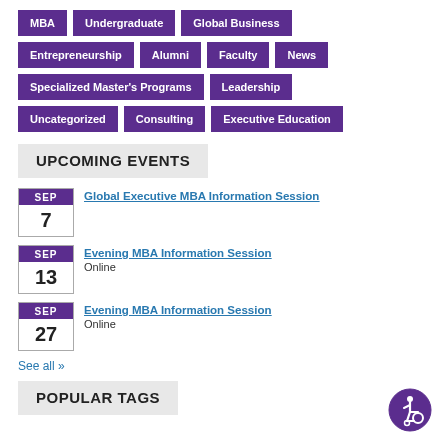MBA
Undergraduate
Global Business
Entrepreneurship
Alumni
Faculty
News
Specialized Master's Programs
Leadership
Uncategorized
Consulting
Executive Education
UPCOMING EVENTS
SEP 7 — Global Executive MBA Information Session
SEP 13 — Evening MBA Information Session — Online
SEP 27 — Evening MBA Information Session — Online
See all »
POPULAR TAGS
[Figure (illustration): Accessibility icon — circular purple badge with wheelchair user symbol]